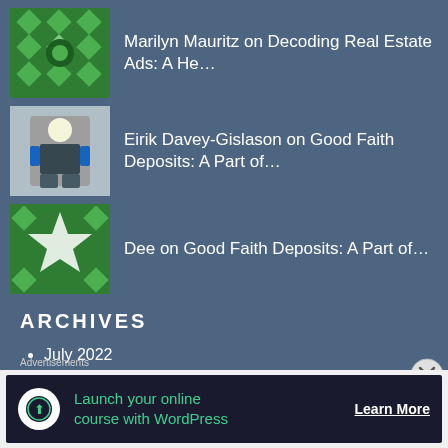Marilyn Mauritz on Decoding Real Estate Ads: A He…
Eirik Davey-Gislason on Good Faith Deposits: A Part of…
Dee on Good Faith Deposits: A Part of…
Eirik Davey-Gislason on GOOD FAITH DEPOSITS: A PART OF…
ARCHIVES
July 2022
June 2022
May 2022
[Figure (infographic): Bottom banner advertisement: Launch your online course with WordPress - Learn More]
Advertisements